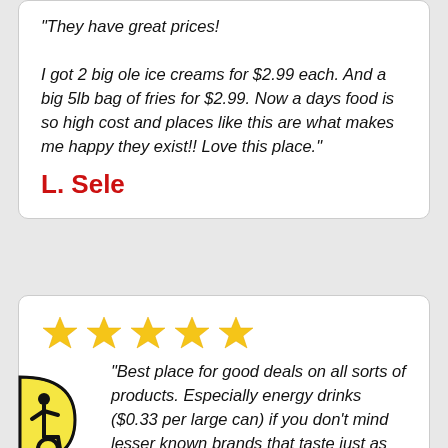“They have great prices! I got 2 big ole ice creams for $2.99 each. And a big 5lb bag of fries for $2.99. Now a days food is so high cost and places like this are what makes me happy they exist!! Love this place.”
L. Sele
[Figure (other): Five gold/yellow star rating icons]
“Best place for good deals on all sorts of products. Especially energy drinks ($0.33 per large can) if you don’t mind lesser known brands that taste just as good or even better than the name brands!”
[Figure (logo): Accessibility wheelchair symbol badge in yellow and black, D-shaped]